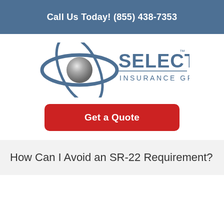Call Us Today! (855) 438-7353
[Figure (logo): Select Insurance Group logo with a metallic sphere and orbital ring graphic, and the text SELECT INSURANCE GROUP]
Get a Quote
How Can I Avoid an SR-22 Requirement?